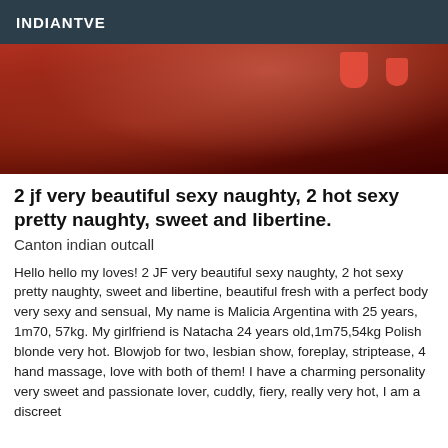INDIANTVE
[Figure (photo): A cropped photo with dark red/maroon tones showing a person in a dark outfit with red fabric accents visible at top]
2 jf very beautiful sexy naughty, 2 hot sexy pretty naughty, sweet and libertine.
Canton indian outcall
Hello hello my loves! 2 JF very beautiful sexy naughty, 2 hot sexy pretty naughty, sweet and libertine, beautiful fresh with a perfect body very sexy and sensual, My name is Malicia Argentina with 25 years, 1m70, 57kg. My girlfriend is Natacha 24 years old,1m75,54kg Polish blonde very hot. Blowjob for two, lesbian show, foreplay, striptease, 4 hand massage, love with both of them! I have a charming personality very sweet and passionate lover, cuddly, fiery, really very hot, I am a discreet